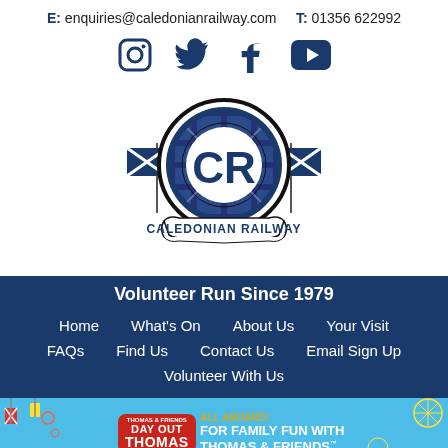E: enquiries@caledonianrailway.com   T: 01356 622992
[Figure (infographic): Social media icons: Instagram, Twitter, Facebook, YouTube in dark navy blue]
[Figure (logo): Caledonian Railway circular logo with CR letters, tartan pattern, Scottish saltire flags, and banner reading 'CALEDONIAN RAILWAY']
Volunteer Run Since 1979
Home
What's On
About Us
Your Visit
FAQs
Find Us
Contact Us
Email Sign Up
Volunteer With Us
[Figure (infographic): Day Out With Thomas & Friends banner: red badge with Thomas branding on blue background with decorative elements, text 'ALL ABOARD! FOR FAMILY FUN WITH THOMAS & FRIENDS']